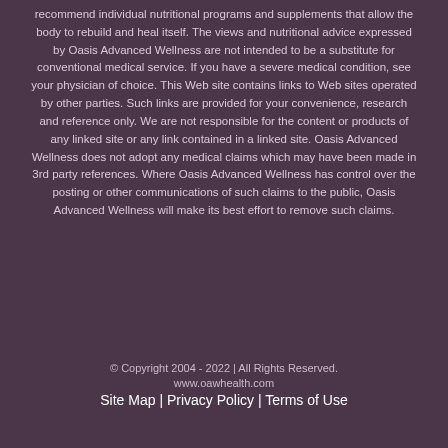recommend individual nutritional programs and supplements that allow the body to rebuild and heal itself. The views and nutritional advice expressed by Oasis Advanced Wellness are not intended to be a substitute for conventional medical service. If you have a severe medical condition, see your physician of choice. This Web site contains links to Web sites operated by other parties. Such links are provided for your convenience, research and reference only. We are not responsible for the content or products of any linked site or any link contained in a linked site. Oasis Advanced Wellness does not adopt any medical claims which may have been made in 3rd party references. Where Oasis Advanced Wellness has control over the posting or other communications of such claims to the public, Oasis Advanced Wellness will make its best effort to remove such claims.
© Copyright 2004 - 2022 | All Rights Reserved.
www.oawhealth.com
Site Map | Privacy Policy | Terms of Use